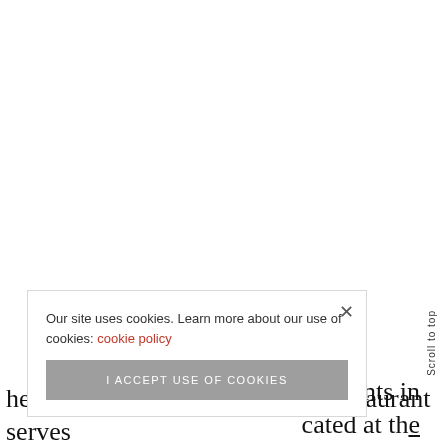[Figure (photo): Upper portion of page showing a white/blank area representing a cropped image region]
Our site uses cookies. Learn more about our use of cookies: cookie policy
I ACCEPT USE OF COOKIES
Scroll to top
aurants in
cated at the heart of London, this Nigerian restaurant serves